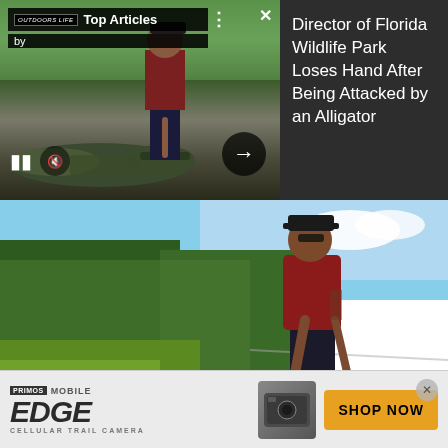[Figure (screenshot): Top banner showing Outdoors Life Top Articles widget with video thumbnail of man leaning toward alligator, and headline text on right dark panel]
Director of Florida Wildlife Park Loses Hand After Being Attacked by an Alligator
[Figure (photo): Large outdoor photograph showing a man in dark cap and red tank top leaning forward toward an alligator with mouth open, surrounded by trees and blue sky]
[Figure (screenshot): Bottom advertisement banner for Primos Mobile EDGE Cellular Trail Camera with Shop Now button]